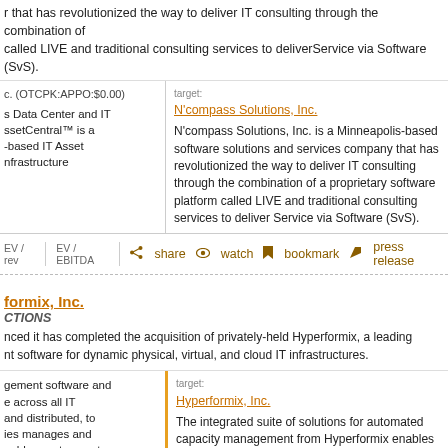that has revolutionized the way to deliver IT consulting through the combination of called LIVE and traditional consulting services to deliverService via Software (SvS).
c. (OTCPK:APPO:$0.00) | target: N'compass Solutions, Inc. | s Data Center and IT | ssetCentral™ is a | based IT Asset | nfrastructure | N'compass Solutions, Inc. is a Minneapolis-based software solutions and services company that has revolutionized the way to deliver IT consulting through the combination of a proprietary software platform called LIVE and traditional consulting services to deliver Service via Software (SvS).
EV / rev | EV / EBITDA | share | watch | bookmark | press release
formix, Inc.
CTIONS
nced it has completed the acquisition of privately-held Hyperformix, a leading nt software for dynamic physical, virtual, and cloud IT infrastructures.
target: Hyperformix, Inc. | gement software and | e across all IT | and distributed, to | ies manages and | nables customers to | " | The integrated suite of solutions for automated capacity management from Hyperformix enables IT organizations to make informed business decisions to predictably, efficiently, and dependably deliver good business outcomes, productivity and growth.